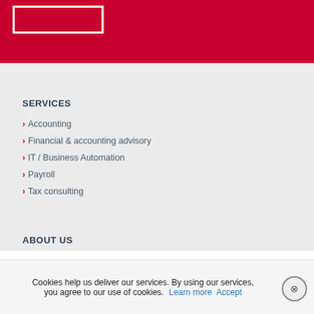[Figure (logo): White rectangle logo outline on red background header]
SERVICES
Accounting
Financial & accounting advisory
IT / Business Automation
Payroll
Tax consulting
ABOUT US
Cookies help us deliver our services. By using our services, you agree to our use of cookies. Learn more Accept